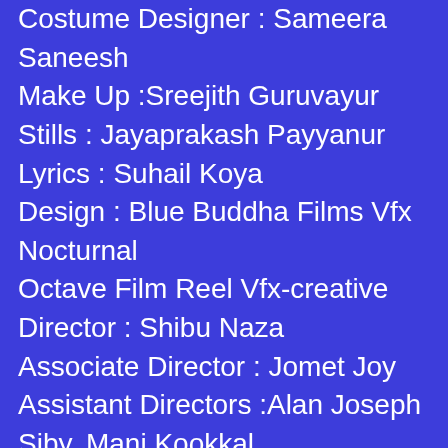Costume Designer : Sameera Saneesh
Make Up :Sreejith Guruvayur
Stills : Jayaprakash Payyanur
Lyrics : Suhail Koya
Design : Blue Buddha Films Vfx Nocturnal
Octave Film Reel Vfx-creative
Director : Shibu Naza
Associate Director : Jomet Joy
Assistant Directors :Alan Joseph Siby, Mani Kookkal
Costume Associate : Rafeeque S Ali
Uae Co-ordnators : Rahim Pmk
Assistant Cinematographers : Jairam
Ramakrishna, Ahmed Sahid, Najumal